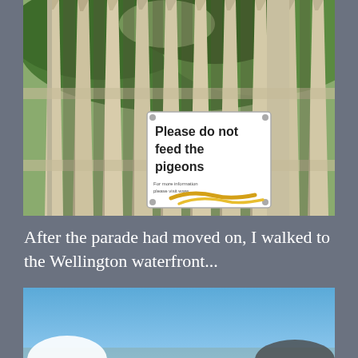[Figure (photo): A wooden picket fence with pointed tops and green foliage visible behind it. A white sign is attached to the fence reading 'Please do not feed the pigeons' with a gold/yellow swoosh logo at the bottom.]
After the parade had moved on, I walked to the Wellington waterfront...
[Figure (photo): A partial view of a scene with a clear blue sky, showing what appears to be an outdoor waterfront area. A white dome or sculpture shape is partially visible at the lower left edge.]